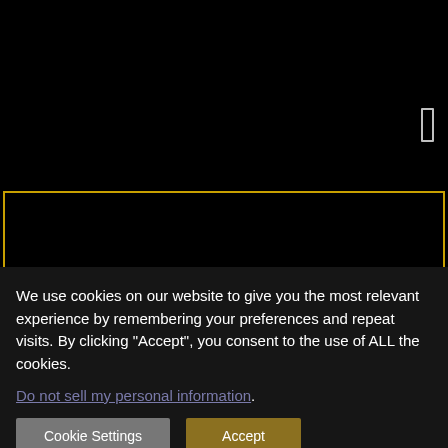[Figure (screenshot): Black background header area with a small rectangular menu icon in the upper right]
BUY SHADOWSTRIKE WOW SOM
GOLD
We use cookies on our website to give you the most relevant experience by remembering your preferences and repeat visits. By clicking “Accept”, you consent to the use of ALL the cookies.
Do not sell my personal information.
Cookie Settings  Accept